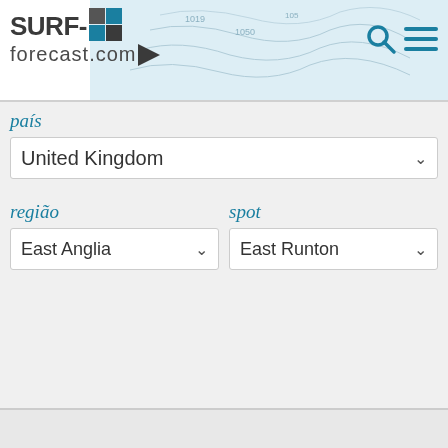SURF-forecast.com
país
United Kingdom
região
spot
East Anglia
East Runton